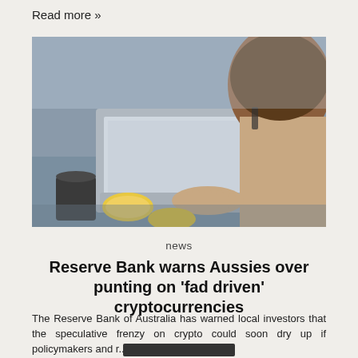Read more »
[Figure (photo): Person viewed from behind working on a laptop with food items on the desk]
news
Reserve Bank warns Aussies over punting on 'fad driven' cryptocurrencies
The Reserve Bank of Australia has warned local investors that the speculative frenzy on crypto could soon dry up if policymakers and r...